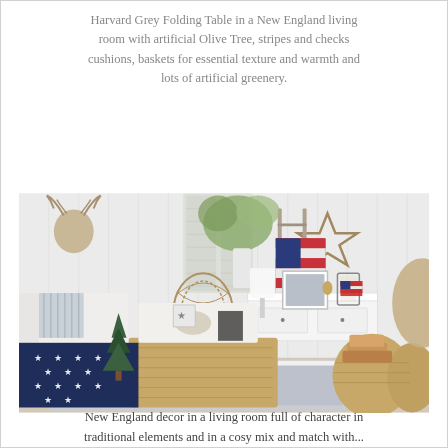Harvard Grey Folding Table in a New England living room with artificial Olive Tree, stripes and checks cushions, baskets for essential texture and warmth and lots of artificial greenery.
[Figure (photo): A New England style living room featuring a white folding/console table (Harvard Grey), wicker baskets used as coffee table and storage, a navy star-print blanket on a sofa, striped cushions, artificial olive tree and greenery, a red American flag throw over a ladder, a large wooden star wall decoration, a wicker stag head on the wall, lanterns, and small Christmas trees.]
New England decor in a living room full of character in traditional elements and in a cosy mix and match with...